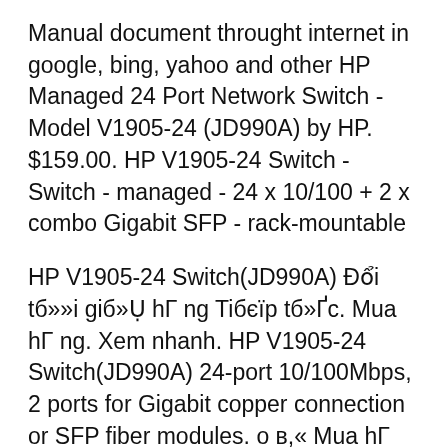Manual document throught internet in google, bing, yahoo and other HP Managed 24 Port Network Switch - Model V1905-24 (JD990A) by HP. $159.00. HP V1905-24 Switch - Switch - managed - 24 x 10/100 + 2 x combo Gigabit SFP - rack-mountable
HP V1905-24 Switch(JD990A) Đổi tб»»i giб»Ụ hГ ng Tiбєïр tб»Ґc. Mua hГ ng. Xem nhanh. HP V1905-24 Switch(JD990A) 24-port 10/100Mbps, 2 ports for Gigabit copper connection or SFP fiber modules. о в,« Mua hГ ng. Xem nhanh. Ббєŷn vб»«a thГЄm sбєJn phбє©m nГ у vГ о giб»Ụ hГ ng: HP 1910-48 Switch(JG540A) Đổi tб»»i giб»Ụ hГ ng Tiбєïр tб»Ґc. Mua hГ ng. Xem nhanh. HP 1910-48 Switch(JG540A) (48) port Find many great new & used options and get the